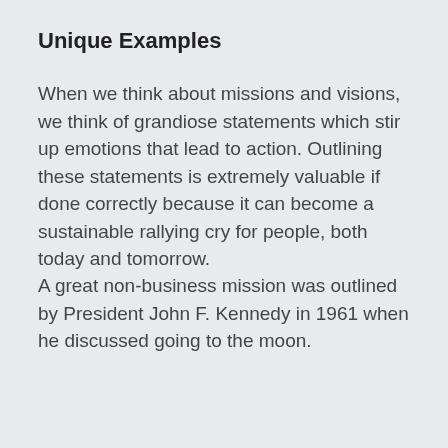Unique Examples
When we think about missions and visions, we think of grandiose statements which stir up emotions that lead to action. Outlining these statements is extremely valuable if done correctly because it can become a sustainable rallying cry for people, both today and tomorrow.
A great non-business mission was outlined by President John F. Kennedy in 1961 when he discussed going to the moon.
[Figure (screenshot): Video thumbnail showing JFK's Famous Speec... with a scroll-up button on the left and a video player interface on a dark background]